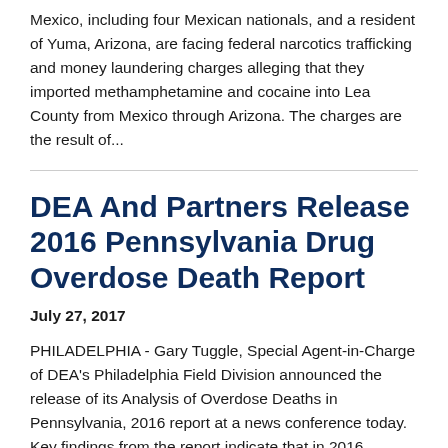Mexico, including four Mexican nationals, and a resident of Yuma, Arizona, are facing federal narcotics trafficking and money laundering charges alleging that they imported methamphetamine and cocaine into Lea County from Mexico through Arizona. The charges are the result of...
DEA And Partners Release 2016 Pennsylvania Drug Overdose Death Report
July 27, 2017
PHILADELPHIA - Gary Tuggle, Special Agent-in-Charge of DEA's Philadelphia Field Division announced the release of its Analysis of Overdose Deaths in Pennsylvania, 2016 report at a news conference today. Key findings from the report indicate that in 2016,